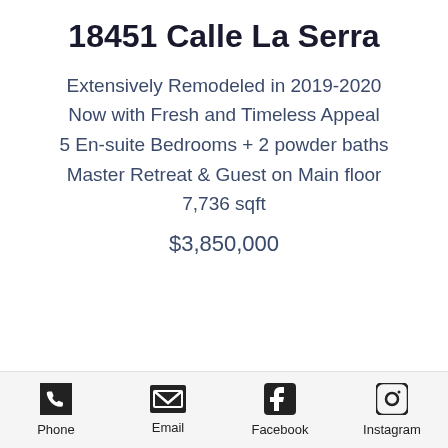18451 Calle La Serra
Extensively Remodeled in 2019-2020
Now with Fresh and Timeless Appeal
5 En-suite Bedrooms + 2 powder baths
Master Retreat & Guest on Main floor
7,736 sqft
$3,850,000
Phone  Email  Facebook  Instagram